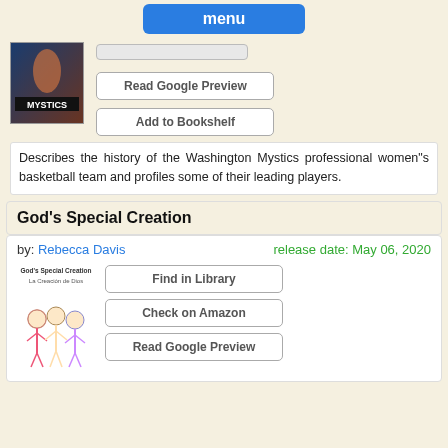[Figure (screenshot): Menu navigation button, blue rounded rectangle with white bold text 'menu']
[Figure (photo): Book cover for Washington Mystics book showing a basketball player and 'MYSTICS' sign]
Read Google Preview
Add to Bookshelf
Describes the history of the Washington Mystics professional women"s basketball team and profiles some of their leading players.
God's Special Creation
by: Rebecca Davis
release date: May 06, 2020
[Figure (illustration): Book cover for God's Special Creation / La Creación de Dios showing children illustration]
Find in Library
Check on Amazon
Read Google Preview